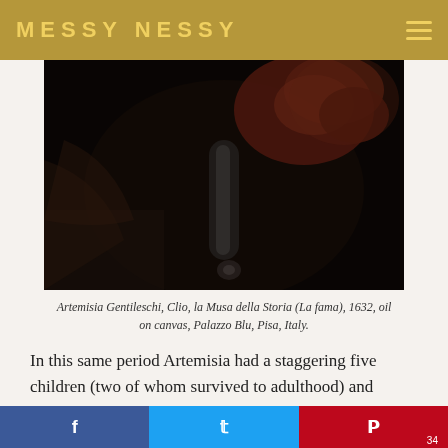MESSY NESSY
[Figure (photo): Dark oil painting showing a figure with reddish hair, partially illuminated against a very dark background, detail of Artemisia Gentileschi's Clio, la Musa della Storia (La fama), 1632]
Artemisia Gentileschi, Clio, la Musa della Storia (La fama), 1632, oil on canvas, Palazzo Blu, Pisa, Italy.
In this same period Artemisia had a staggering five children (two of whom survived to adulthood) and carried on a love affair with the nobleman Francesco Maria Maringhi. Her husband was aware